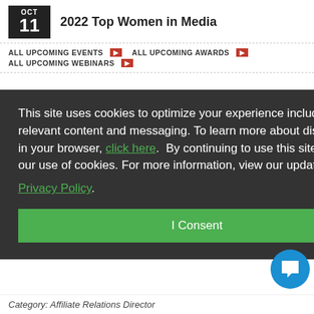2022 Top Women in Media
ALL UPCOMING EVENTS
ALL UPCOMING AWARDS
ALL UPCOMING WEBINARS
This site uses cookies to optimize your experience including more relevant content and messaging. To learn more about disabling cookies in your browser, click here. By continuing to use this site, you accept our use of cookies. For more information, view our updated Privacy Policy.
I Consent
22, 2022
tions cast erves on ing ision
Category: Affiliate Relations Director